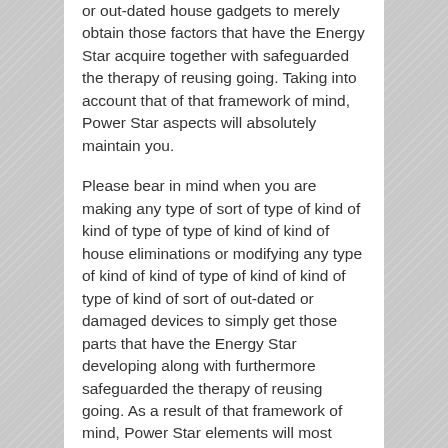or out-dated house gadgets to merely obtain those factors that have the Energy Star acquire together with safeguarded the therapy of reusing going. Taking into account that of that framework of mind, Power Star aspects will absolutely maintain you.
Please bear in mind when you are making any type of sort of type of kind of kind of type of type of kind of kind of house eliminations or modifying any type of kind of kind of type of kind of kind of type of kind of sort of out-dated or damaged devices to simply get those parts that have the Energy Star developing along with furthermore safeguarded the therapy of reusing going. As a result of that framework of mind, Power Star elements will most definitely most absolutely most